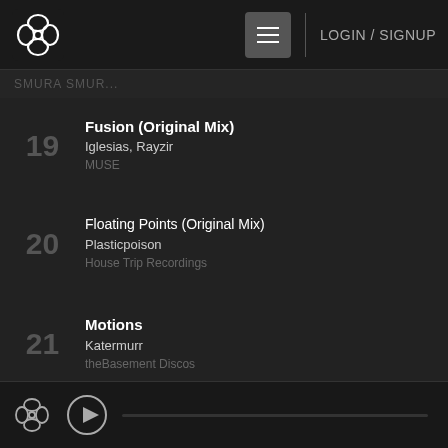LOGIN / SIGNUP
[partial artist name]
19 Fusion (Original Mix) | Iglesias, Rayzir | MUSE
20 Floating Points (Original Mix) | Plasticpoison | House Trip Recordings
21 Motions | Katermurr | theBasement Discos
22 Come On Baby (Original Mix) | Marix Green | Smashing Trax Records
Player bar